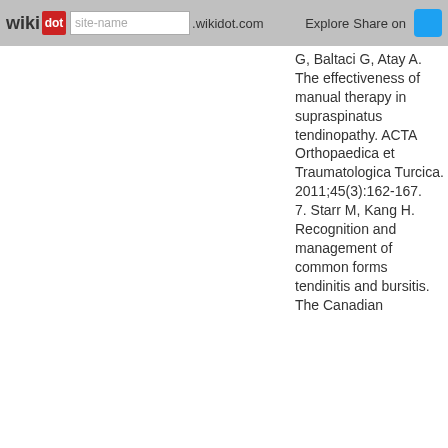wikidot | site-name .wikidot.com | Explore | Share on
G, Baltaci G, Atay A. The effectiveness of manual therapy in supraspinatus tendinopathy. ACTA Orthopaedica et Traumatologica Turcica. 2011;45(3):162-167.
7. Starr M, Kang H. Recognition and management of common forms tendinitis and bursitis. The Canadian